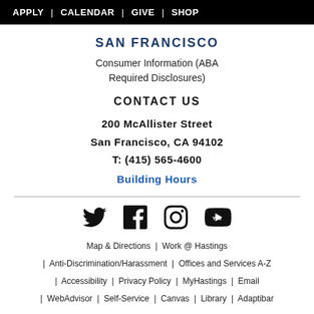APPLY | CALENDAR | GIVE | SHOP
SAN FRANCISCO
Consumer Information (ABA Required Disclosures)
CONTACT US
200 McAllister Street
San Francisco, CA 94102
T: (415) 565-4600
Building Hours
[Figure (infographic): Social media icons: Twitter, Facebook, Instagram, YouTube]
Map & Directions  |  Work @ Hastings
|  Anti-Discrimination/Harassment  |  Offices and Services A-Z
|  Accessibility  |  Privacy Policy  |  MyHastings  |  Email
|  WebAdvisor  |  Self-Service  |  Canvas  |  Library  |  Adaptibar